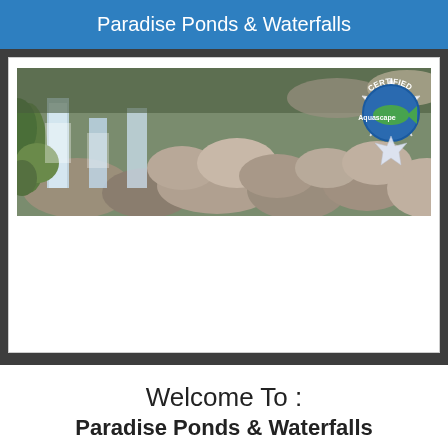Paradise Ponds & Waterfalls
[Figure (photo): Banner photo of a waterfall with rocks and greenery, with a Certified Aquascape badge in the top right corner.]
Welcome To :
Paradise Ponds & Waterfalls
Providing Koi Pond Service, Design, Installation, & Maintenance Services for the Atlanta Metro Area
Sponsored Certified Aquascape Georgia (GA)